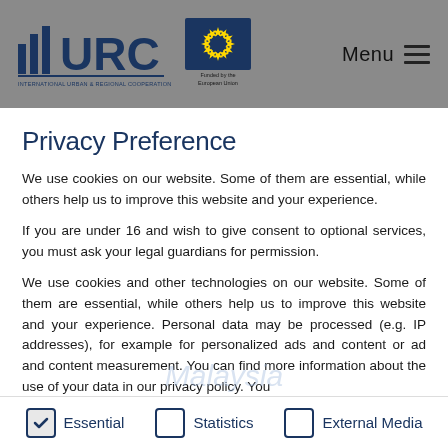IURC — Funded by the European Union — Menu
Privacy Preference
We use cookies on our website. Some of them are essential, while others help us to improve this website and your experience.
If you are under 16 and wish to give consent to optional services, you must ask your legal guardians for permission.
We use cookies and other technologies on our website. Some of them are essential, while others help us to improve this website and your experience. Personal data may be processed (e.g. IP addresses), for example for personalized ads and content or ad and content measurement. You can find more information about the use of your data in our privacy policy. You
Essential   Statistics   External Media